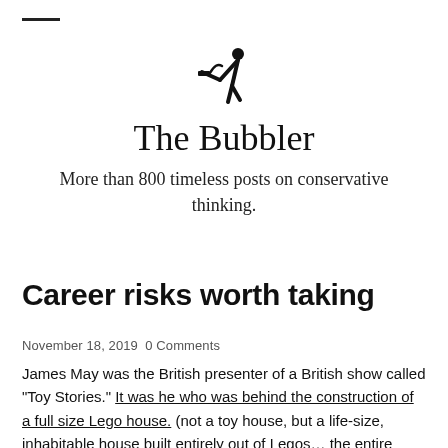[Figure (illustration): Icon of a person bending over a water fountain/bubbler]
The Bubbler
More than 800 timeless posts on conservative thinking.
Career risks worth taking
November 18, 2019  0 Comments
James May was the British presenter of a British show called "Toy Stories." It was he who was behind the construction of a full size Lego house. (not a toy house, but a life-size, inhabitable house built entirely out of Legos… the entire series is definitely worth watching).